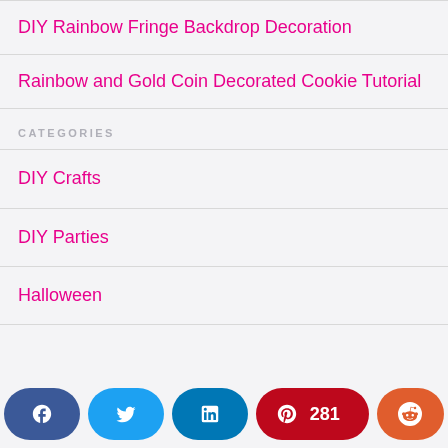DIY Rainbow Fringe Backdrop Decoration
Rainbow and Gold Coin Decorated Cookie Tutorial
CATEGORIES
DIY Crafts
DIY Parties
Halloween
[Figure (infographic): Social sharing buttons: Facebook, Twitter, LinkedIn, Pinterest (281), Reddit]